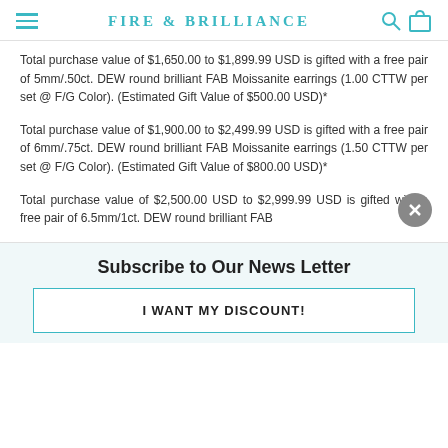FIRE & BRILLIANCE
Total purchase value of $1,650.00 to $1,899.99 USD is gifted with a free pair of 5mm/.50ct. DEW round brilliant FAB Moissanite earrings (1.00 CTTW per set @ F/G Color). (Estimated Gift Value of $500.00 USD)*
Total purchase value of $1,900.00 to $2,499.99 USD is gifted with a free pair of 6mm/.75ct. DEW round brilliant FAB Moissanite earrings (1.50 CTTW per set @ F/G Color). (Estimated Gift Value of $800.00 USD)*
Total purchase value of $2,500.00 USD to $2,999.99 USD is gifted with a free pair of 6.5mm/1ct. DEW round brilliant FAB
Subscribe to Our News Letter
I WANT MY DISCOUNT!